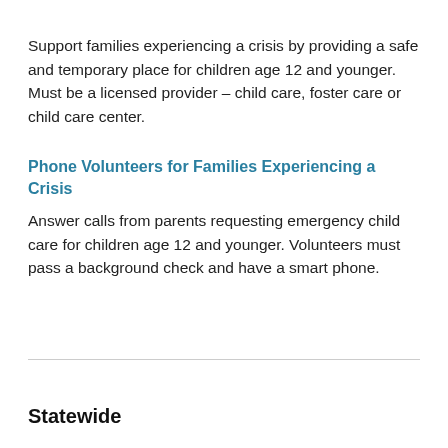...title clip...
Support families experiencing a crisis by providing a safe and temporary place for children age 12 and younger. Must be a licensed provider – child care, foster care or child care center.
Phone Volunteers for Families Experiencing a Crisis
Answer calls from parents requesting emergency child care for children age 12 and younger. Volunteers must pass a background check and have a smart phone.
Statewide